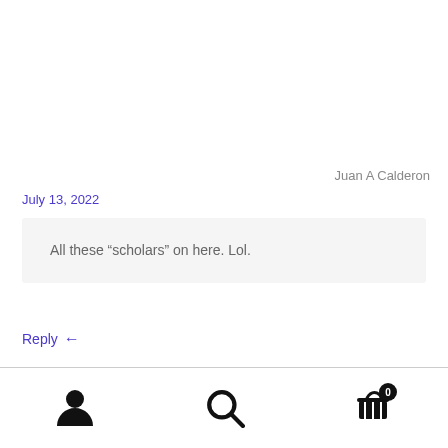Juan A Calderon
July 13, 2022
All these “scholars” on here. Lol.
Reply
[Figure (other): Bottom navigation bar with user icon, search icon, and shopping cart icon with badge showing 0]